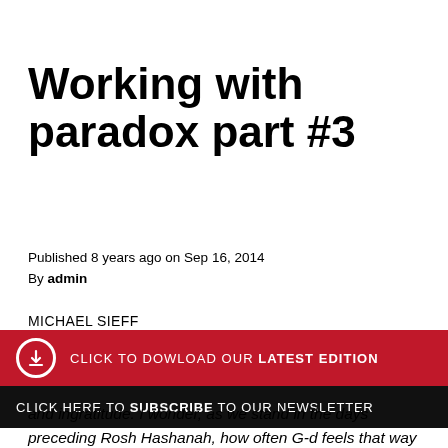Working with paradox part #3
Published 8 years ago on Sep 16, 2014
By admin
MICHAEL SIEFF
CLICK TO DOWLOAD OUR LATEST EDITION
CLICK HERE TO SUBSCRIBE TO OUR NEWSLETTER
and ingratitude. I wonder, as we stand in the days preceding Rosh Hashanah, how often G-d feels that way